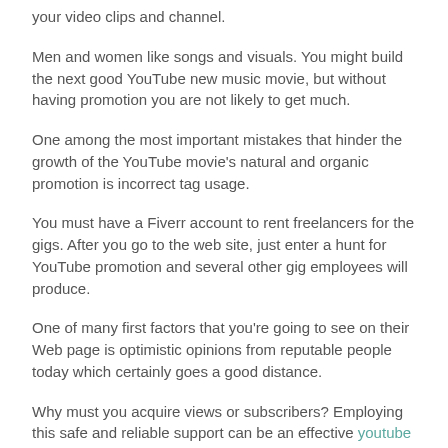your video clips and channel.
Men and women like songs and visuals. You might build the next good YouTube new music movie, but without having promotion you are not likely to get much.
One among the most important mistakes that hinder the growth of the YouTube movie's natural and organic promotion is incorrect tag usage.
You must have a Fiverr account to rent freelancers for the gigs. After you go to the web site, just enter a hunt for YouTube promotion and several other gig employees will produce.
One of many first factors that you're going to see on their Web page is optimistic opinions from reputable people today which certainly goes a good distance.
Why must you acquire views or subscribers? Employing this safe and reliable support can be an effective youtube promotion solution to boost your exposure and bolster your believability on YouTube. Own or